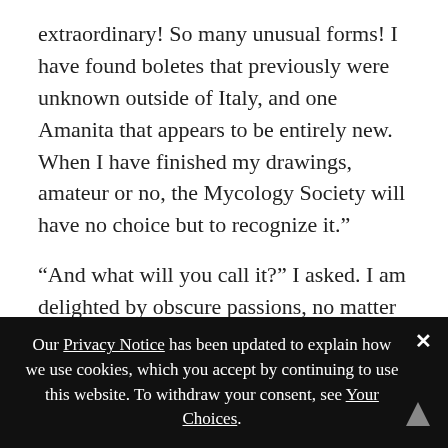extraordinary! So many unusual forms! I have found boletes that previously were unknown outside of Italy, and one Amanita that appears to be entirely new. When I have finished my drawings, amateur or no, the Mycology Society will have no choice but to recognize it.”
“And what will you call it?” I asked. I am delighted by obscure passions, no matter how unusual. During the war, I was once holed up in a shepherd’s cottage, listening for the enemy to come up the hillside, when the shepherd launched into an impassioned diatribe on the finer points of sheep breeding that rivaled any sermon I have ever heard in my life. By the end, I was
Our Privacy Notice has been updated to explain how we use cookies, which you accept by continuing to use this website. To withdraw your consent, see Your Choices.